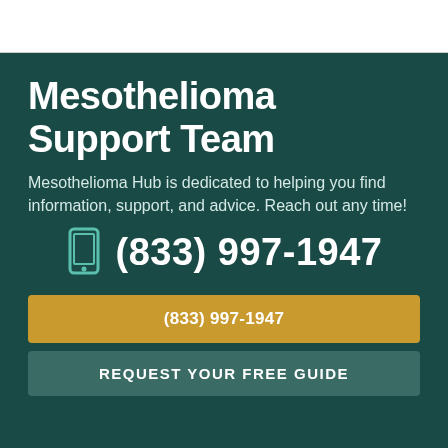Mesothelioma Support Team
Mesothelioma Hub is dedicated to helping you find information, support, and advice. Reach out any time!
(833) 997-1947
(833) 997-1947
Request Your Free Guide